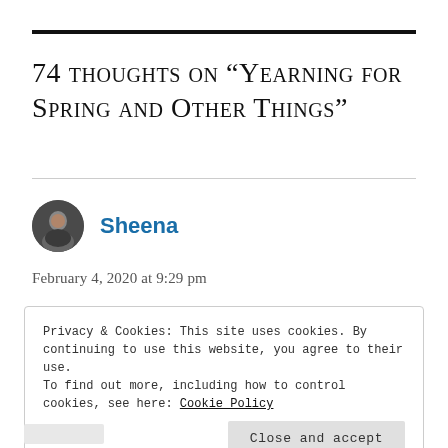74 thoughts on “Yearning for Spring and Other Things”
Sheena
February 4, 2020 at 9:29 pm
Privacy & Cookies: This site uses cookies. By continuing to use this website, you agree to their use.
To find out more, including how to control cookies, see here: Cookie Policy